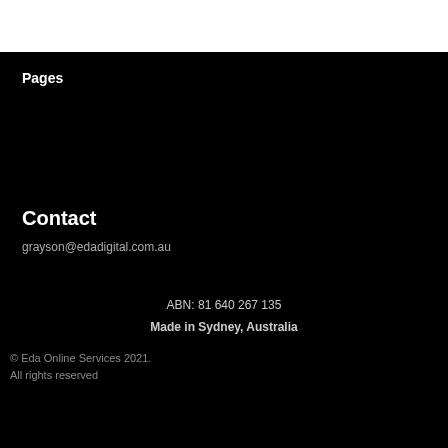Pages
Contact
grayson@edadigital.com.au
ABN: 81 640 267 135
Made in Sydney, Australia
© Eda Online Services 2021. All rights reserved